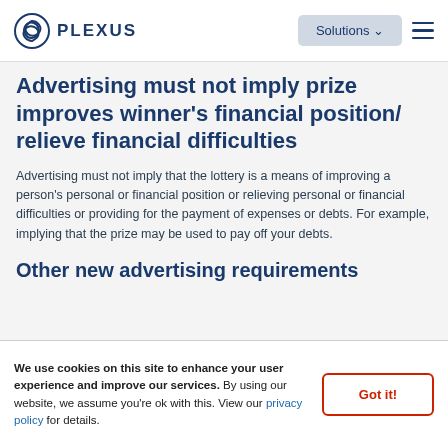PLEXUS | Solutions
Advertising must not imply prize improves winner's financial position/ relieve financial difficulties
Advertising must not imply that the lottery is a means of improving a person's personal or financial position or relieving personal or financial difficulties or providing for the payment of expenses or debts. For example, implying that the prize may be used to pay off your debts.
Other new advertising requirements
We use cookies on this site to enhance your user experience and improve our services. By using our website, we assume you're ok with this. View our privacy policy for details.